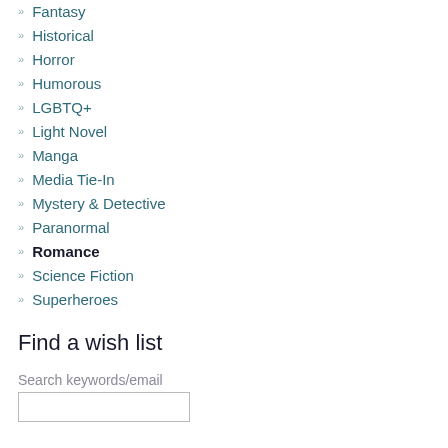Fantasy
Historical
Horror
Humorous
LGBTQ+
Light Novel
Manga
Media Tie-In
Mystery & Detective
Paranormal
Romance
Science Fiction
Superheroes
Find a wish list
Search keywords/email